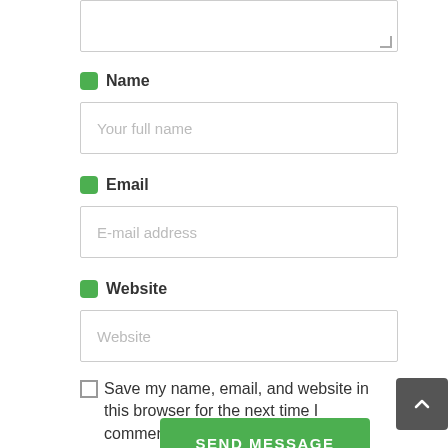[Figure (screenshot): Textarea input box partially visible at top of page]
Name
Your full name
Email
E-mail address
Website
Website
Save my name, email, and website in this browser for the next time I comment.
SEND MESSAGE